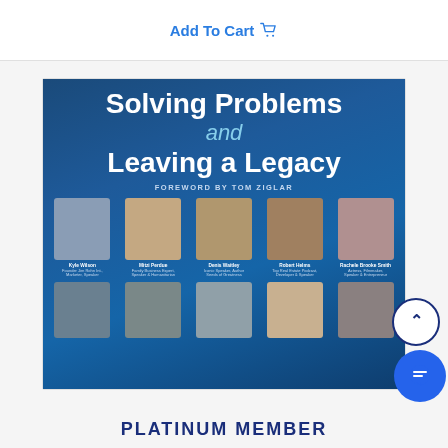Add To Cart
[Figure (photo): Book cover for 'Solving Problems and Leaving a Legacy' with foreword by Tom Ziglar. Shows bold white title text on dark blue gradient background, with two rows of author headshots including Kyle Wilson, Mitzi Perdue, Denis Waitley, Robert Helms, Rachele Brooke Smith, and others.]
PLATINUM MEMBER